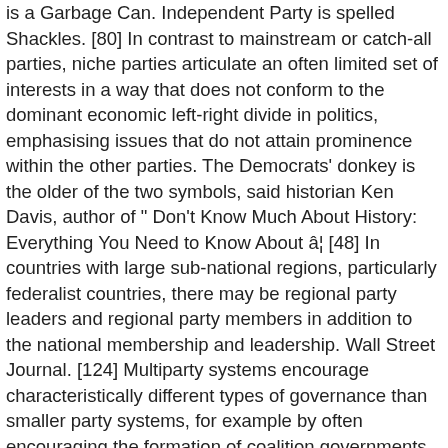is a Garbage Can. Independent Party is spelled Shackles. [80] In contrast to mainstream or catch-all parties, niche parties articulate an often limited set of interests in a way that does not conform to the dominant economic left-right divide in politics, emphasising issues that do not attain prominence within the other parties. The Democrats' donkey is the older of the two symbols, said historian Ken Davis, author of " Don't Know Much About History: Everything You Need to Know About â¦ [48] In countries with large sub-national regions, particularly federalist countries, there may be regional party leaders and regional party members in addition to the national membership and leadership. Wall Street Journal. [124] Multiparty systems encourage characteristically different types of governance than smaller party systems, for example by often encouraging the formation of coalition governments. They later formed â¦ [2]:3 In a broader definition, political parties are the entire apparatus that supports the election of a group of candidates, including voters and volunteers who identify with a particular political